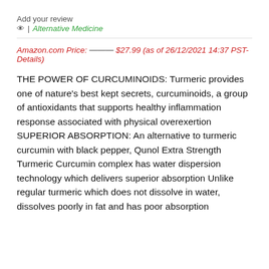Add your review
👁 | Alternative Medicine
Amazon.com Price: ——— $27.99 (as of 26/12/2021 14:37 PST- Details)
THE POWER OF CURCUMINOIDS: Turmeric provides one of nature's best kept secrets, curcuminoids, a group of antioxidants that supports healthy inflammation response associated with physical overexertion SUPERIOR ABSORPTION: An alternative to turmeric curcumin with black pepper, Qunol Extra Strength Turmeric Curcumin complex has water dispersion technology which delivers superior absorption Unlike regular turmeric which does not dissolve in water, dissolves poorly in fat and has poor absorption